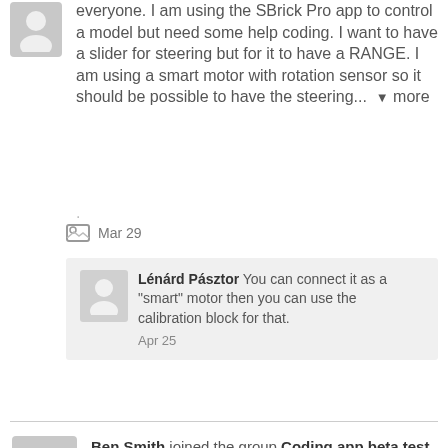everyone. I am using the SBrick Pro app to control a model but need some help coding. I want to have a slider for steering but for it to have a RANGE. I am using a smart motor with rotation sensor so it should be possible to have the steering... ▼ more
Mar 29
Lénárd Pásztor You can connect it as a "smart" motor then you can use the calibration block for that. Apr 25
Ben Smith joined the group Coding app beta test Mar 29
Ben Smith posted a topic in the forum Support: Sbrick Pro Hello all. A few questions about SBrick Pro...